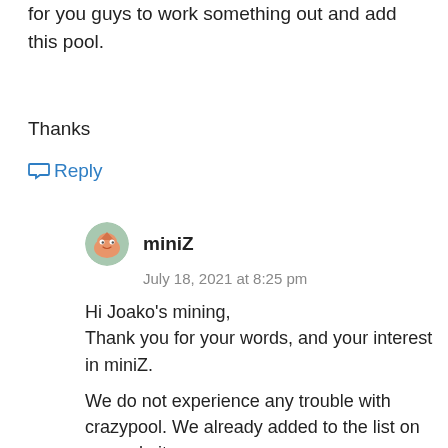for you guys to work something out and add this pool.
Thanks
Reply
miniZ
July 18, 2021 at 8:25 pm
Hi Joako’s mining,
Thank you for your words, and your interest in miniZ.
We do not experience any trouble with crazypool. We already added to the list on our website.
Are you mining ETH? This command line works well:
./miniZ --
url=WALLET_ADDRESS.WORKER_NAME@eu.crazypool.org:3333